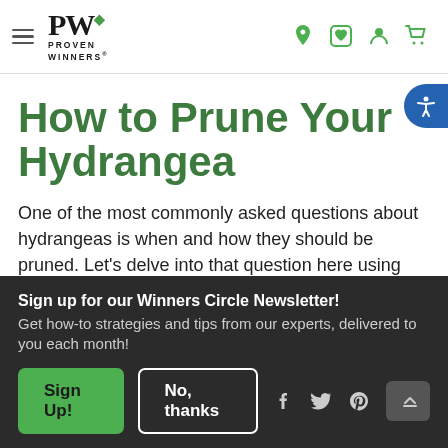Proven Winners - Navigation header with logo and icons
How to Prune Your Hydrangea
One of the most commonly asked questions about hydrangeas is when and how they should be pruned. Let's delve into that question here using three simple steps.
Sign up for our Winners Circle Newsletter! Get how-to strategies and tips from our experts, delivered to you each month!
Sign Up!  No, thanks